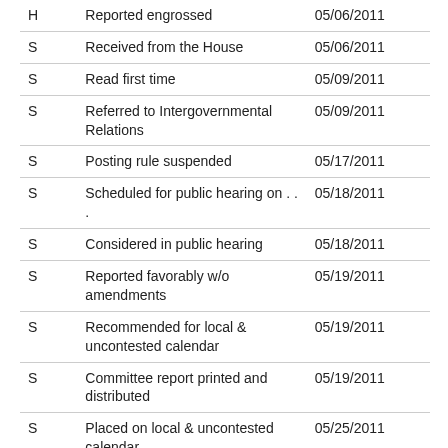| H | Reported engrossed | 05/06/2011 |
| S | Received from the House | 05/06/2011 |
| S | Read first time | 05/09/2011 |
| S | Referred to Intergovernmental Relations | 05/09/2011 |
| S | Posting rule suspended | 05/17/2011 |
| S | Scheduled for public hearing on . . . | 05/18/2011 |
| S | Considered in public hearing | 05/18/2011 |
| S | Reported favorably w/o amendments | 05/19/2011 |
| S | Recommended for local & uncontested calendar | 05/19/2011 |
| S | Committee report printed and distributed | 05/19/2011 |
| S | Placed on local & uncontested calendar | 05/25/2011 |
| S | Laid before the Senate | 05/25/2011 |
| S | Read 2nd time & passed to 3rd reading | 05/25/2011 |
| S | Vote recorded in Journal | 05/25/2011 |